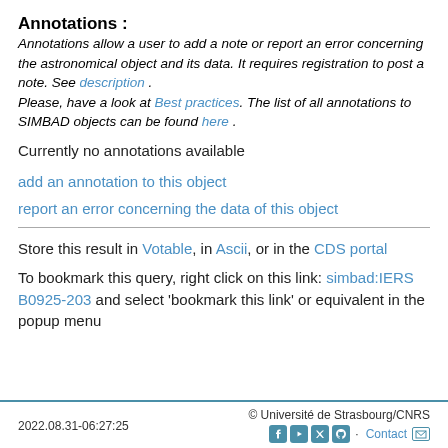Annotations :
Annotations allow a user to add a note or report an error concerning the astronomical object and its data. It requires registration to post a note. See description . Please, have a look at Best practices. The list of all annotations to SIMBAD objects can be found here .
Currently no annotations available
add an annotation to this object
report an error concerning the data of this object
Store this result in Votable, in Ascii, or in the CDS portal
To bookmark this query, right click on this link: simbad:IERS B0925-203 and select 'bookmark this link' or equivalent in the popup menu
2022.08.31-06:27:25   © Université de Strasbourg/CNRS   Contact